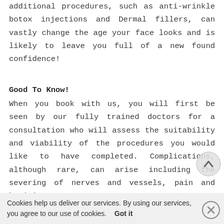additional procedures, such as anti-wrinkle botox injections and Dermal fillers, can vastly change the age your face looks and is likely to leave you full of a new found confidence!
Good To Know!
When you book with us, you will first be seen by our fully trained doctors for a consultation who will assess the suitability and viability of the procedures you would like to have completed. Complications, although rare, can arise including the severing of nerves and vessels, pain and bruising.
Cookies help us deliver our services. By using our services, you agree to our use of cookies.    Got it